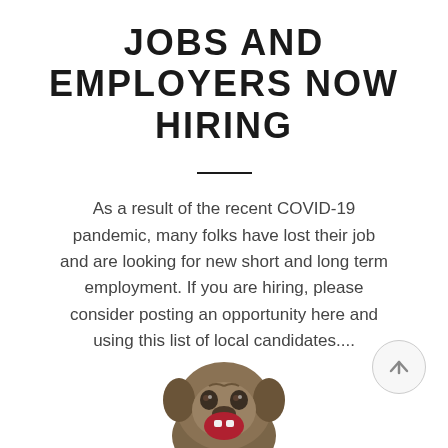JOBS AND EMPLOYERS NOW HIRING
As a result of the recent COVID-19 pandemic, many folks have lost their job and are looking for new short and long term employment. If you are hiring, please consider posting an opportunity here and using this list of local candidates....
[Figure (illustration): Scroll-to-top button: circle with an upward arrow inside, light grey border and background]
[Figure (illustration): Cartoon dog/pug mascot illustration, partially visible at the bottom of the page, brown coloring with red open mouth]